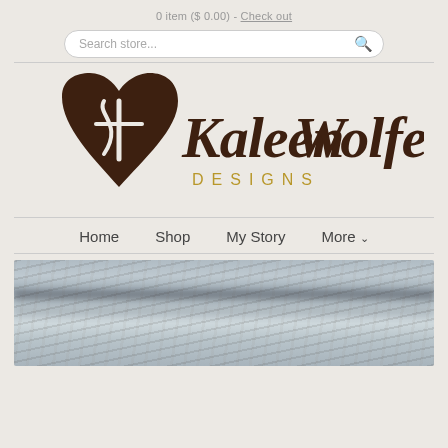0 item ($ 0.00) - Check out
[Figure (screenshot): Search bar with rounded corners and magnifying glass icon, placeholder text 'Search store...']
[Figure (logo): Kaleen Wolfe Designs logo: dark brown heart shape with a cross/K letterform inside, cursive script 'Kaleen Wolfe' in dark brown, 'DESIGNS' in gold spaced capitals below]
Home   Shop   My Story   More ˅
[Figure (photo): Blurred close-up photo of what appears to be a knitted or woven textile/bracelet in blue-grey tones with textured pattern, bottom portion of the page]